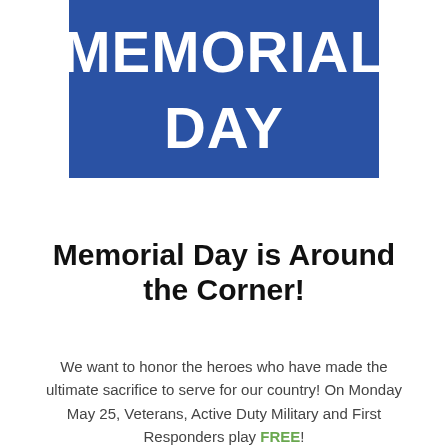[Figure (illustration): Blue rectangular banner with white bold text reading 'MEMORIAL DAY']
Memorial Day is Around the Corner!
We want to honor the heroes who have made the ultimate sacrifice to serve for our country! On Monday May 25, Veterans, Active Duty Military and First Responders play FREE!